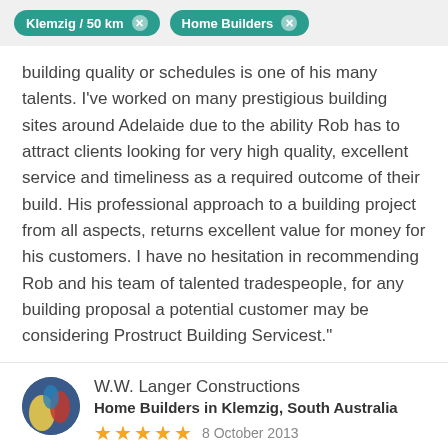Klemzig / 50 km  ×    Home Builders  ×
building quality or schedules is one of his many talents. I've worked on many prestigious building sites around Adelaide due to the ability Rob has to attract clients looking for very high quality, excellent service and timeliness as a required outcome of their build. His professional approach to a building project from all aspects, returns excellent value for money for his customers. I have no hesitation in recommending Rob and his team of talented tradespeople, for any building proposal a potential customer may be considering Prostruct Building Servicest."
W.W. Langer Constructions
Home Builders in Klemzig, South Australia
★★★★★  8 October 2013
"High quality builder, thoughtful advice, good